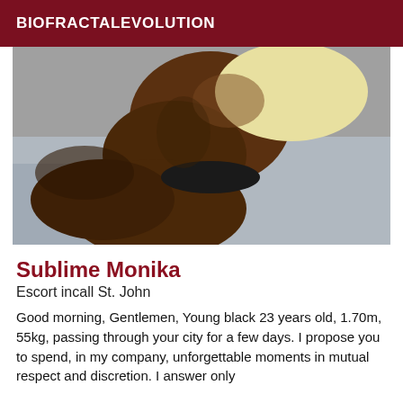BIOFRACTALEVOLUTION
[Figure (photo): Photo of a young Black woman lying on a bed, wearing a light yellow top and black underwear, torso and lower body visible from a close angle on grey bedding.]
Sublime Monika
Escort incall St. John
Good morning, Gentlemen, Young black 23 years old, 1.70m, 55kg, passing through your city for a few days. I propose you to spend, in my company, unforgettable moments in mutual respect and discretion. I answer only